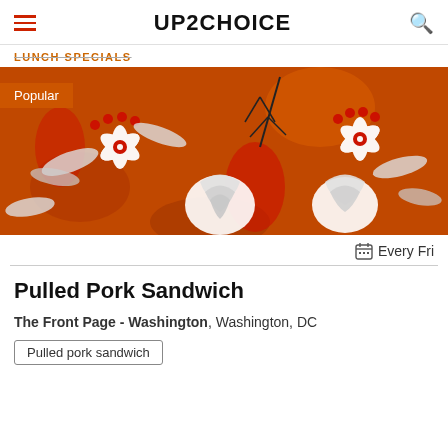UP2CHOICE
LUNCH SPECIALS
[Figure (illustration): Decorative floral illustration with red and white flowers, berries, leaves, and artichokes on an orange/brown background. A badge reading 'Popular' appears in the upper left.]
Every Fri
Pulled Pork Sandwich
The Front Page - Washington, Washington, DC
Pulled pork sandwich